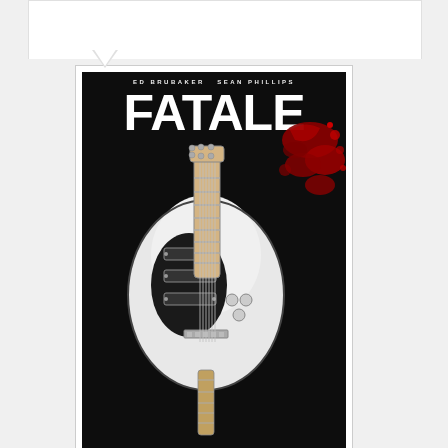[Figure (illustration): Comic book cover for 'Fatale' issue Number Nineteen, by Ed Brubaker and Sean Phillips. Black background with large white text 'FATALE'. A white electric guitar centered on the cover with blood splatter effect in red. Authors named at top: ED BRUBAKER SEAN PHILLIPS. 'Number Nineteen' at bottom left.]
I'm not sure where I'm at with this issue. It finishes up the grunge band arc, but Brubaker uses it to kick
Advertisements
[Figure (screenshot): Advertisement banner for 'Day One' journaling app with light blue background. Shows icons of a journal, person, and notepad. Text: 'DAY ONE' and 'The only journaling app you'll ever need.']